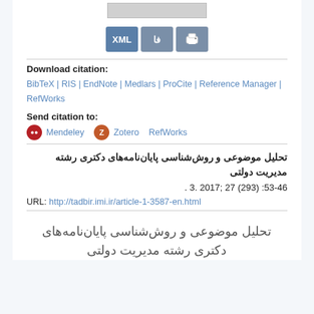[Figure (screenshot): Partial top bar/image area (cropped from top of page)]
[Figure (screenshot): Three buttons: XML, فا (Persian), and Print icon]
Download citation:
BibTeX | RIS | EndNote | Medlars | ProCite | Reference Manager | RefWorks
Send citation to:
Mendeley  Zotero  RefWorks
تحلیل موضوعی و روش‌شناسی پایان‌نامه‌های دکتری رشته مدیریت دولتی 53-46: (293) 27 ;2017 .3 .
URL: http://tadbir.imi.ir/article-1-3587-en.html
تحلیل موضوعی و روش‌شناسی پایان‌نامه‌های دکتری رشته مدیریت دولتی